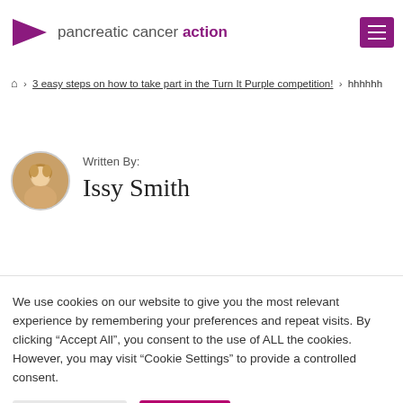pancreatic cancer action
Home > 3 easy steps on how to take part in the Turn It Purple competition! > hhhhhh
Written By: Issy Smith
We use cookies on our website to give you the most relevant experience by remembering your preferences and repeat visits. By clicking "Accept All", you consent to the use of ALL the cookies. However, you may visit "Cookie Settings" to provide a controlled consent.